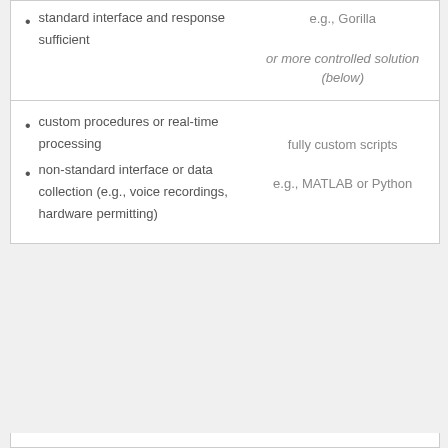standard interface and response sufficient
e.g., Gorilla

or more controlled solution (below)
custom procedures or real-time processing
non-standard interface or data collection (e.g., voice recordings, hardware permitting)
fully custom scripts

e.g., MATLAB or Python